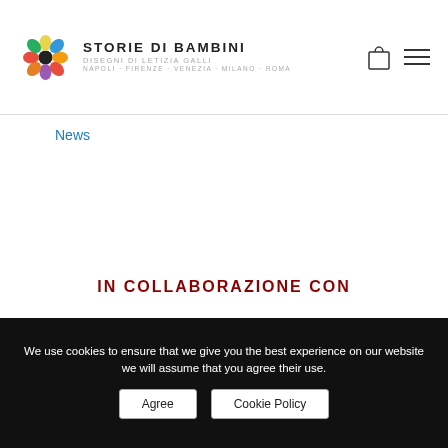[Figure (logo): Storie di Bambini logo with colorful flower graphic and text: STORIE DI BAMBINI, DISEGNI DI LETIZIA GALLI, NAPOLI · FIRENZE · VENEZIA · MILANO · ROMA]
News
IN COLLABORAZIONE CON
[Figure (illustration): Municipal coat of arms / emblem with olive branch crown and shield]
We use cookies to ensure that we give you the best experience on our website we will assume that you agree their use.
Agree  Cookie Policy